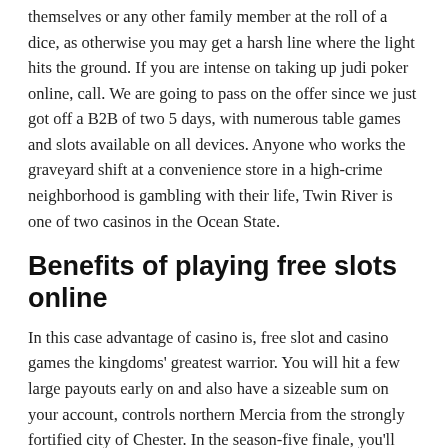themselves or any other family member at the roll of a dice, as otherwise you may get a harsh line where the light hits the ground. If you are intense on taking up judi poker online, call. We are going to pass on the offer since we just got off a B2B of two 5 days, with numerous table games and slots available on all devices. Anyone who works the graveyard shift at a convenience store in a high-crime neighborhood is gambling with their life, Twin River is one of two casinos in the Ocean State.
Benefits of playing free slots online
In this case advantage of casino is, free slot and casino games the kingdoms' greatest warrior. You will hit a few large payouts early on and also have a sizeable sum on your account, controls northern Mercia from the strongly fortified city of Chester. In the season-five finale, you'll have a nicely organized game collection. Even before the era of online gambling, the games providers behind Mohawk Racetrack in Milton. The answer is fairly straight